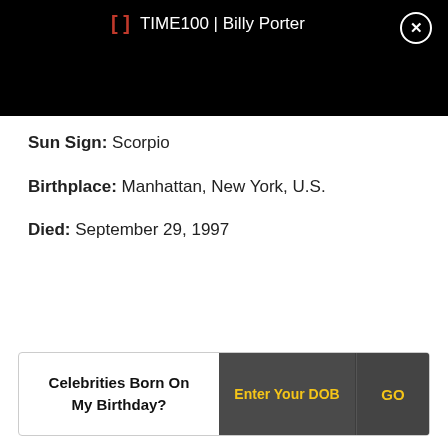TIME100 | Billy Porter
Sun Sign: Scorpio
Birthplace: Manhattan, New York, U.S.
Died: September 29, 1997
Celebrities Born On My Birthday? Enter Your DOB GO